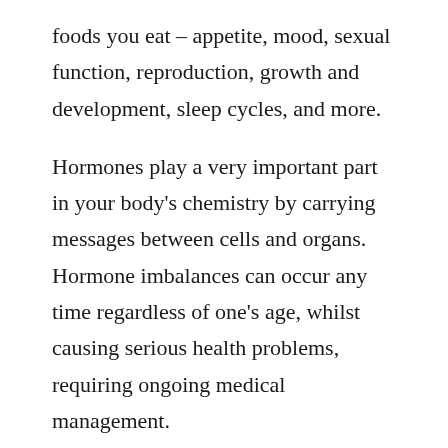foods you eat – appetite, mood, sexual function, reproduction, growth and development, sleep cycles, and more.
Hormones play a very important part in your body's chemistry by carrying messages between cells and organs. Hormone imbalances can occur any time regardless of one's age, whilst causing serious health problems, requiring ongoing medical management.
Various functions and rhythms of the body are controlled by Hormones. Chemical messengers produced by the Endocrine Glands are discharged into the bloodstream. These glands include the Pituitary, Thyroid, Parathyroids, Adrenals, Islets of Langerhans, and the sex glands or Gonads. Some interaction takes